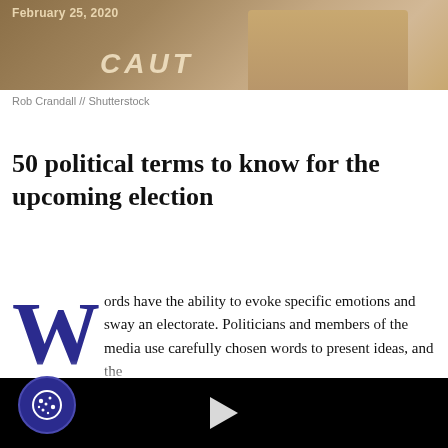[Figure (photo): Photograph of a 'CAUTION' book or sign on a wooden surface, photo credit Rob Crandall // Shutterstock, dated February 25, 2020]
Rob Crandall // Shutterstock
50 political terms to know for the upcoming election
Words have the ability to evoke specific emotions and sway an electorate. Politicians and members of the media use carefully chosen words to present ideas, and the
[Figure (screenshot): Black video player block with a white play button triangle in the center]